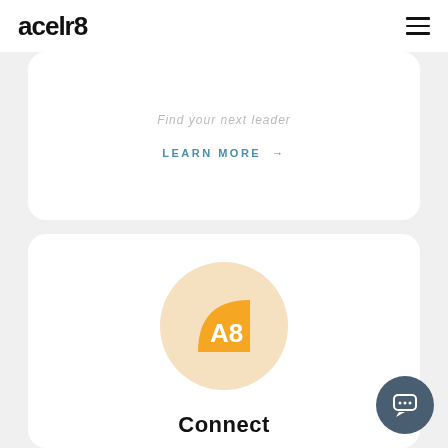acelr8
Find your next leader
LEARN MORE →
[Figure (logo): A8 orange leaf-shaped logo badge inside a peach/cream circular background]
Connect